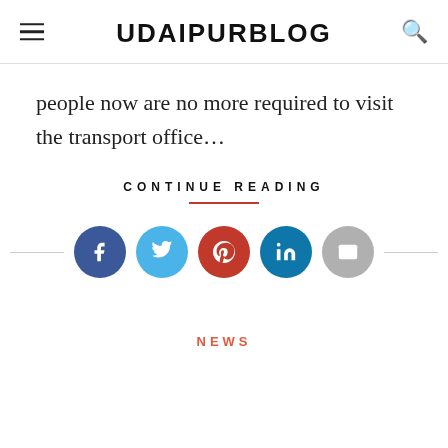UDAIPURBLOG
people now are no more required to visit the transport office...
CONTINUE READING
[Figure (infographic): Social share buttons: Facebook, Twitter, Pinterest, LinkedIn, Email]
NEWS